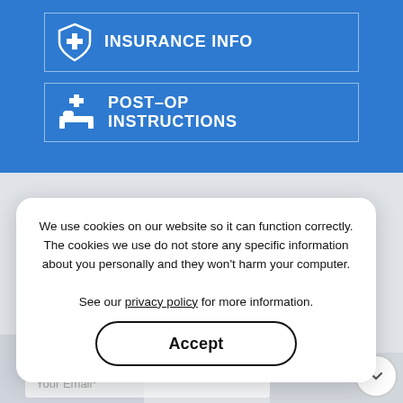[Figure (infographic): Blue button with shield/cross icon and text INSURANCE INFO]
[Figure (infographic): Blue button with hospital bed/cross icon and text POST-OP INSTRUCTIONS]
Contact Us
We use cookies on our website so it can function correctly. The cookies we use do not store any specific information about you personally and they won't harm your computer. See our privacy policy for more information.
Accept